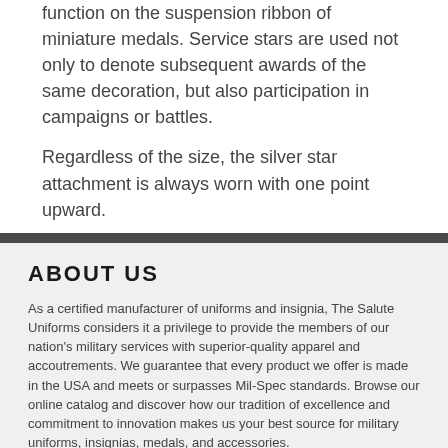function on the suspension ribbon of miniature medals. Service stars are used not only to denote subsequent awards of the same decoration, but also participation in campaigns or battles.
Regardless of the size, the silver star attachment is always worn with one point upward.
ABOUT US
As a certified manufacturer of uniforms and insignia, The Salute Uniforms considers it a privilege to provide the members of our nation’s military services with superior-quality apparel and accoutrements. We guarantee that every product we offer is made in the USA and meets or surpasses Mil-Spec standards. Browse our online catalog and discover how our tradition of excellence and commitment to innovation makes us your best source for military uniforms, insignias, medals, and accessories.
CUSTOMER INFO